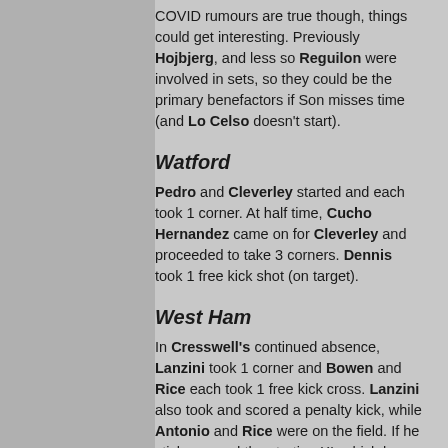COVID rumours are true though, things could get interesting. Previously Hojbjerg, and less so Reguilon were involved in sets, so they could be the primary benefactors if Son misses time (and Lo Celso doesn't start).
Watford
Pedro and Cleverley started and each took 1 corner. At half time, Cucho Hernandez came on for Cleverley and proceeded to take 3 corners. Dennis took 1 free kick shot (on target).
West Ham
In Cresswell's continued absence, Lanzini took 1 corner and Bowen and Rice each took 1 free kick cross. Lanzini also took and scored a penalty kick, while Antonio and Rice were on the field. If he sticks around the starting XI, which he might to avoid in...